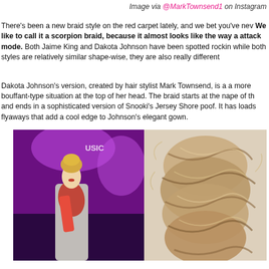Image via @MarkTownsend1 on Instagram
There's been a new braid style on the red carpet lately, and we bet you've nev We like to call it a scorpion braid, because it almost looks like the way a attack mode. Both Jaime King and Dakota Johnson have been spotted rockin while both styles are relatively similar shape-wise, they are also really different
Dakota Johnson's version, created by hair stylist Mark Townsend, is a a more bouffant-type situation at the top of her head. The braid starts at the nape of th and ends in a sophisticated version of Snooki's Jersey Shore poof. It has loads flyaways that add a cool edge to Johnson's elegant gown.
[Figure (photo): Jaime King at an event wearing a grey dress with a red scarf, blonde hair in an updo, in front of a purple-lit backdrop]
[Figure (photo): Close-up of a blonde scorpion braid hairstyle showing the braid texture and detail]